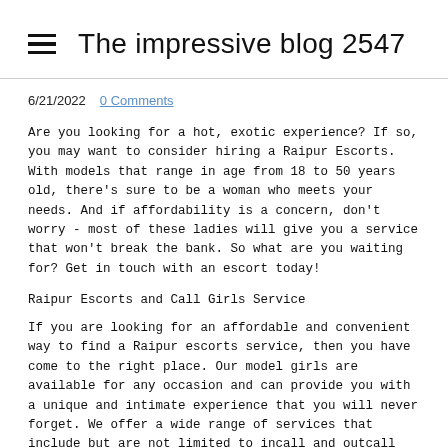The impressive blog 2547
6/21/2022   0 Comments
Are you looking for a hot, exotic experience? If so, you may want to consider hiring a Raipur Escorts. With models that range in age from 18 to 50 years old, there's sure to be a woman who meets your needs. And if affordability is a concern, don't worry - most of these ladies will give you a service that won't break the bank. So what are you waiting for? Get in touch with an escort today!
Raipur Escorts and Call Girls Service
If you are looking for an affordable and convenient way to find a Raipur escorts service, then you have come to the right place. Our model girls are available for any occasion and can provide you with a unique and intimate experience that you will never forget. We offer a wide range of services that include but are not limited to incall and outcall escorts full-body massages and sensual dinners. Plus, our rates are ver